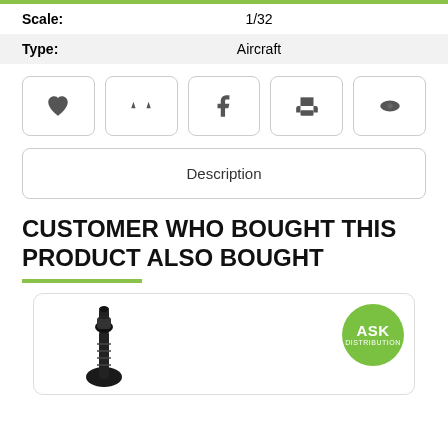| Scale: | 1/32 |
| Type: | Aircraft |
[Figure (screenshot): Row of five icon buttons: heart (wishlist), balance scale (compare), Facebook share, printer, eye (watch)]
Description
CUSTOMER WHO BOUGHT THIS PRODUCT ALSO BOUGHT
[Figure (photo): Product card showing a dark cable/connector accessory with ASK DISTRIBUTION green circular logo badge in top right corner]